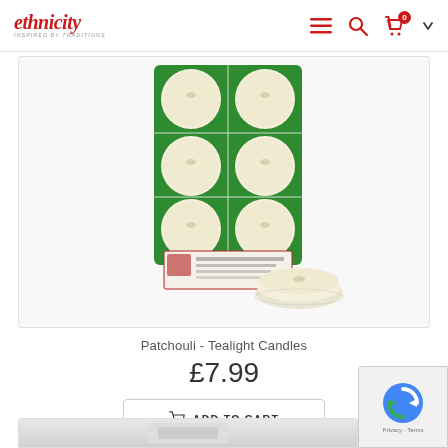ethnicity — inspired by TRADITIONS
[Figure (photo): Package of Patchouli Tealight Candles on green cardboard tray showing 6 round white tealight candles, with one tealight candle in front of the package separately displayed]
Patchouli - Tealight Candles
£7.99
ADD TO CART